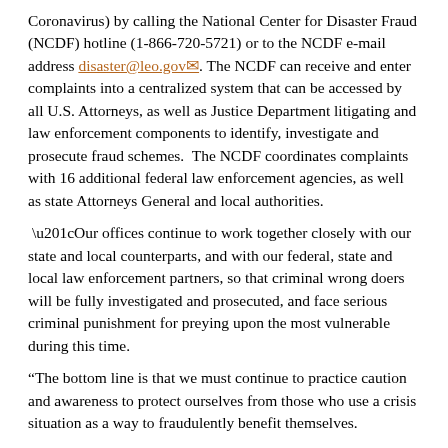Coronavirus) by calling the National Center for Disaster Fraud (NCDF) hotline (1-866-720-5721) or to the NCDF e-mail address disaster@leo.gov. The NCDF can receive and enter complaints into a centralized system that can be accessed by all U.S. Attorneys, as well as Justice Department litigating and law enforcement components to identify, investigate and prosecute fraud schemes.  The NCDF coordinates complaints with 16 additional federal law enforcement agencies, as well as state Attorneys General and local authorities.
“Our offices continue to work together closely with our state and local counterparts, and with our federal, state and local law enforcement partners, so that criminal wrong doers will be fully investigated and prosecuted, and face serious criminal punishment for preying upon the most vulnerable during this time.
“The bottom line is that we must continue to practice caution and awareness to protect ourselves from those who use a crisis situation as a way to fraudulently benefit themselves.
Another educational resource is a public service announcement issued today by the FBI that specifically outlines methods cyber scammers may employ to commit fraud: https://www.ic3.gov/media/2020/200320.aspx.  Complaints may also be submitted directly to the FBI at https://www.ic3.gov